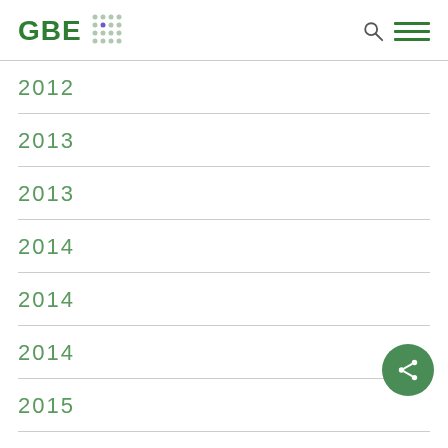GBE [logo with dots]
2012
2013
2013
2014
2014
2014
2015
2015
2015